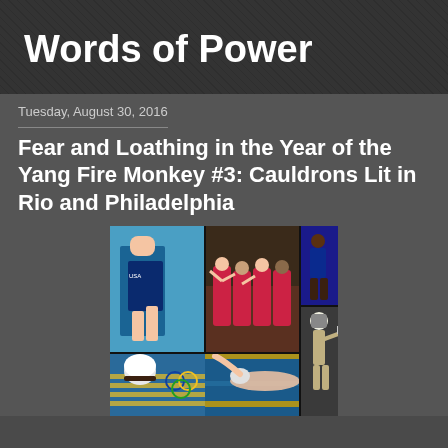Words of Power
Tuesday, August 30, 2016
Fear and Loathing in the Year of the Yang Fire Monkey #3: Cauldrons Lit in Rio and Philadelphia
[Figure (photo): Collage of five photos of female athletes at the 2016 Rio Olympics: a triathlete running in USA swimsuit, USA gymnasts celebrating together, a sprinter in starting position, a swimmer in a pool, and a fencer in action.]